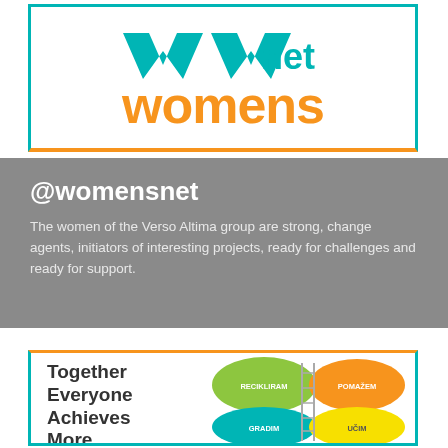[Figure (logo): WV net womens logo with teal chevron/W shape and orange 'womens' text, inside a teal and orange bordered card]
@womensnet
The women of the Verso Altima group are strong, change agents, initiators of interesting projects, ready for challenges and ready for support.
[Figure (infographic): TEAM infographic card: 'Together Everyone Achieves More BUILDING' text on left, four colored blobs (green: RECIKLIRAM, orange: POMAŽEM, teal: GRADIM, yellow: UČIM) with a person on a ladder illustration]